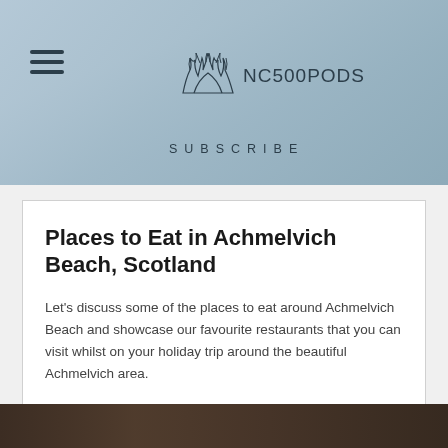NC500PODS SUBSCRIBE
Places to Eat in Achmelvich Beach, Scotland
Let's discuss some of the places to eat around Achmelvich Beach and showcase our favourite restaurants that you can visit whilst on your holiday trip around the beautiful Achmelvich area.
READ MORE »
Calum MacLeod · February 22, 2021
[Figure (photo): Dark interior photo strip at the bottom of the page]